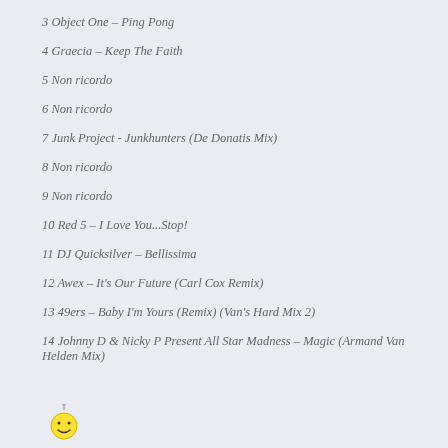3 Object One – Ping Pong
4 Graecia – Keep The Faith
5 Non ricordo
6 Non ricordo
7 Junk Project - Junkhunters (De Donatis Mix)
8 Non ricordo
9 Non ricordo
10 Red 5 – I Love You...Stop!
11 DJ Quicksilver – Bellissima
12 Awex – It's Our Future (Carl Cox Remix)
13 49ers – Baby I'm Yours (Remix) (Van's Hard Mix 2)
14 Johnny D & Nicky P Present All Star Madness – Magic (Armand Van Helden Mix)
[Figure (illustration): Small yellow smiley face emoji/icon at bottom left]